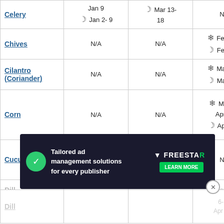| Vegetable | Indoor Start | Transplant/Direct Sow | Last Frost Outdoor |
| --- | --- | --- | --- |
| Celery | Jan 9
☽ Jan 2-9 | ☾ Mar 13-18 | N/A |
| Chives | N/A | N/A | ❄ Feb 6-13
☽ Feb 6-13 |
| Cilantro (Coriander) | N/A | N/A | ❄ Mar 6-20
☽ Mar 6-18 |
| Corn | N/A | N/A | ❄ Mar 20-Apr 10
☽ Apr 1-10 |
| Cucumbers | ❄ Feb 6-13
☽ Feb 6-13 | ❄ Mar 20-Apr 3
☽ Apr 1-3 | N/A |
| Dill | ... | ... | ❄ Mar 6-Apr ...
☽ 6-18, Apr 1-10 |
[Figure (infographic): Advertisement overlay: 'Tailored ad management solutions for every publisher' with Freestar logo and Learn More button]